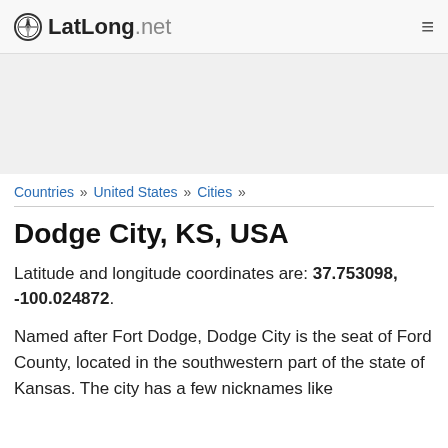LatLong.net
Countries » United States » Cities »
Dodge City, KS, USA
Latitude and longitude coordinates are: 37.753098, -100.024872.
Named after Fort Dodge, Dodge City is the seat of Ford County, located in the southwestern part of the state of Kansas. The city has a few nicknames like